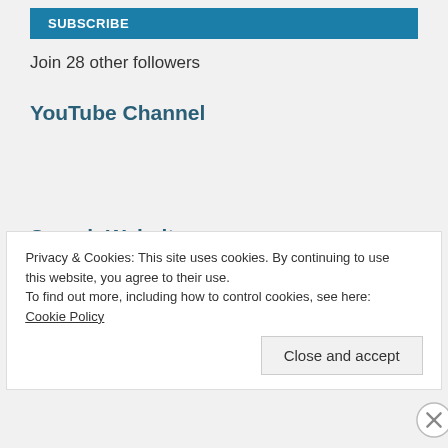[Figure (other): Blue subscribe button (partial, cropped at top)]
Join 28 other followers
YouTube Channel
Search Website
[Figure (other): Search input box with placeholder text 'Search …']
Privacy & Cookies: This site uses cookies. By continuing to use this website, you agree to their use.
To find out more, including how to control cookies, see here: Cookie Policy
Close and accept